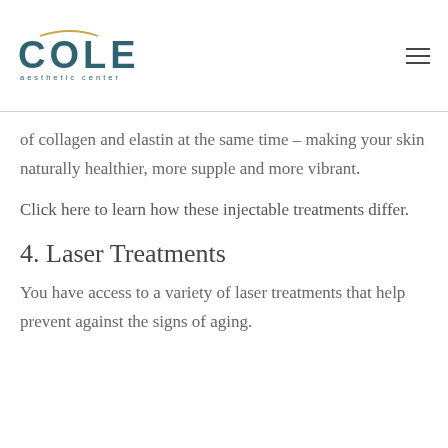COLE aesthetic center
of collagen and elastin at the same time – making your skin naturally healthier, more supple and more vibrant.
Click here to learn how these injectable treatments differ.
4. Laser Treatments
You have access to a variety of laser treatments that help prevent against the signs of aging.